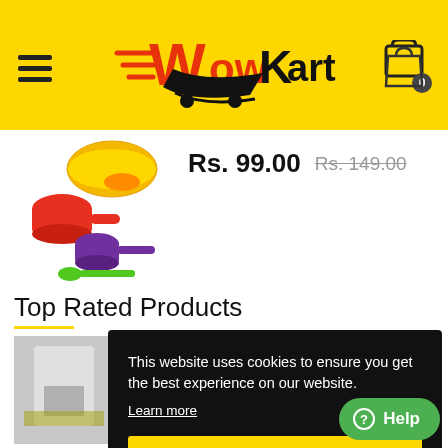[Figure (logo): WowKart e-commerce logo with shopping cart and speed lines, on yellow header background]
[Figure (photo): Colorful measuring spoons/cups set - red, purple, green, orange measuring cups]
Rs. 99.00   Rs. 149.00
Top Rated Products
This website uses cookies to ensure you get the best experience on our website. Learn more
Got it!
Help